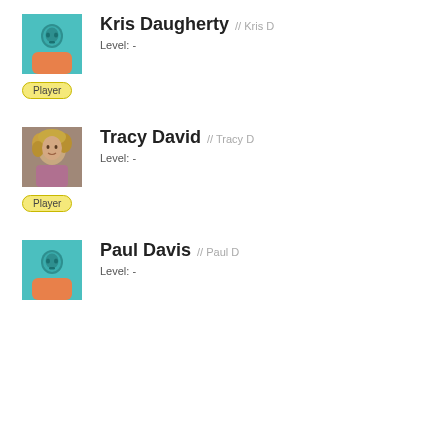[Figure (illustration): Teal avatar silhouette with orange shirt, placeholder profile image for Kris Daugherty]
Kris Daugherty // Kris D
Level: -
Player
[Figure (photo): Photo of Tracy David, a woman with curly blonde hair wearing a pink top]
Tracy David // Tracy D
Level: -
Player
[Figure (illustration): Teal avatar silhouette with orange shirt, placeholder profile image for Paul Davis]
Paul Davis // Paul D
Level: -